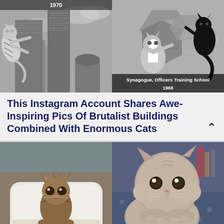[Figure (photo): Two images side by side: left is black-and-white photo with giant striped cat climbing a brutalist skyscraper cityscape with '1970' label; right is digital artwork with cats posed on geometric brutalist architecture shapes labeled 'Synagogue, Officers Training School 1968']
This Instagram Account Shares Awe-Inspiring Pics Of Brutalist Buildings Combined With Enormous Cats
[Figure (photo): Two cat photos side by side: left shows a tiny wet kitten sitting in a white tub/sink looking sad; right shows a fluffy gray kitten resting its chin on its paws on a blue surface looking at camera]